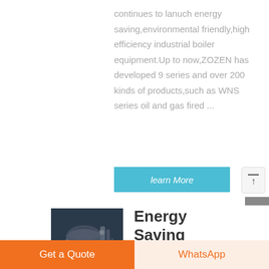continues to lanuch energy saving,environmental friendly,high efficiency industrial boiler equipment.Up to now,ZOZEN has developed 9 series and over 200 kinds of products,such as WNS series oil and gas fired ...
learn More
[Figure (photo): Industrial boiler equipment photo showing large cylindrical boiler machinery in a facility]
Energy Saving
Get a Quote
WhatsApp